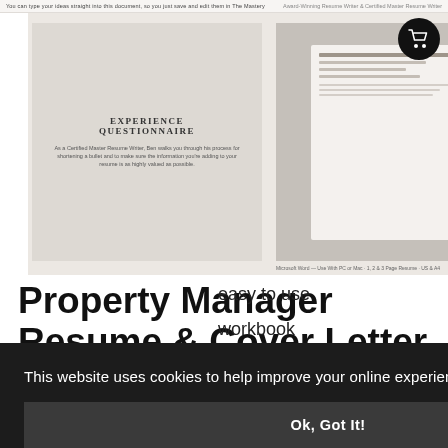[Figure (photo): Product listing screenshot showing a property manager resume template and cover letter workbook with experience questionnaire pages visible. Top navigation bar with cart icon.]
Property Manager Resume & Cover Letter Template + Workbook
easy to use workbook resume format
This website uses cookies to help improve your online experience.
Ok, Got It!